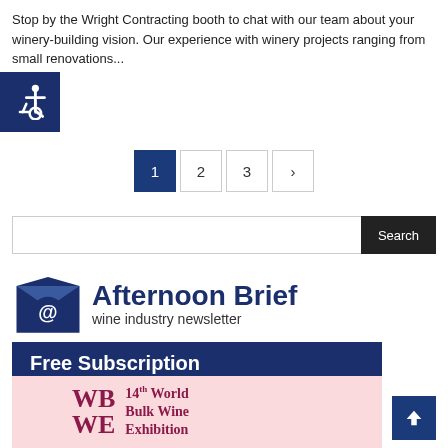Stop by the Wright Contracting booth to chat with our team about your winery-building vision. Our experience with winery projects ranging from small renovations...
[Figure (illustration): Accessibility wheelchair icon on dark navy blue square background]
Pagination: 1 (active), 2, 3, >
[Figure (screenshot): Search bar with text input and Search button]
[Figure (logo): Afternoon Brief wine industry newsletter logo with envelope icon, title and Free Subscription button]
[Figure (infographic): 14th World Bulk Wine Exhibition banner on pink background with WBWE logo]